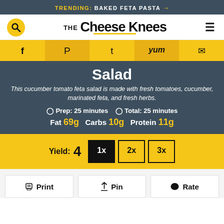TRENDING: BAKED FETA PASTA →
[Figure (logo): The Cheese Knees logo with search icon and hamburger menu]
[Figure (infographic): Social share bar with Facebook, Pinterest, Twitter, Yummly, and Email icons]
Salad
This cucumber tomato feta salad is made with fresh tomatoes, cucumber, marinated feta, and fresh herbs.
Prep: 25 minutes   Total: 25 minutes
Fat 69g   Carbs 10g   Protein 11g
Yield: 4   1x   2x   3x
Print   Pin   Rate